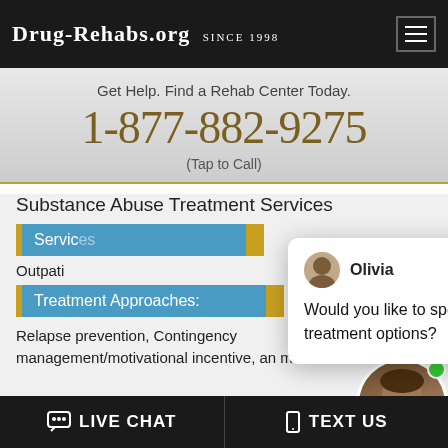Drug-Rehabs.org Since 1998
Get Help. Find a Rehab Center Today.
1-877-882-9275
(Tap to Call)
Substance Abuse Treatment Services
Services
Outpati
[Figure (screenshot): Chat popup from Olivia asking: Would you like to speak to a counselor about treatment options?]
Treatment Approaches:
Relapse prevention, Contingency management/motivational incentive, and more...
[Figure (photo): Online Agent avatar showing a woman with an online indicator and typing bubble]
LIVE CHAT   TEXT US